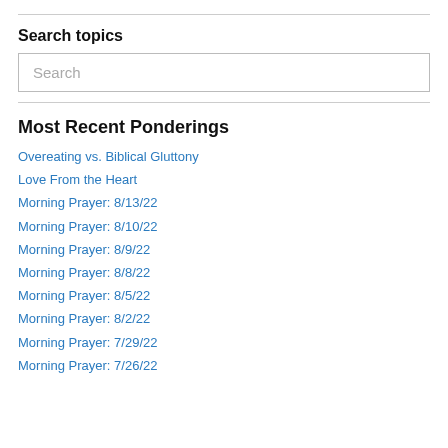Search topics
[Figure (other): Search input box with placeholder text 'Search']
Most Recent Ponderings
Overeating vs. Biblical Gluttony
Love From the Heart
Morning Prayer: 8/13/22
Morning Prayer: 8/10/22
Morning Prayer: 8/9/22
Morning Prayer: 8/8/22
Morning Prayer: 8/5/22
Morning Prayer: 8/2/22
Morning Prayer: 7/29/22
Morning Prayer: 7/26/22